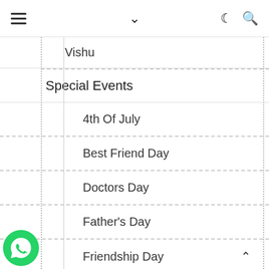Navigation bar with hamburger menu, chevron, moon icon, search icon
Vishu
Special Events
4th Of July
Best Friend Day
Doctors Day
Father's Day
Friendship Day
Gandhi Jayanti